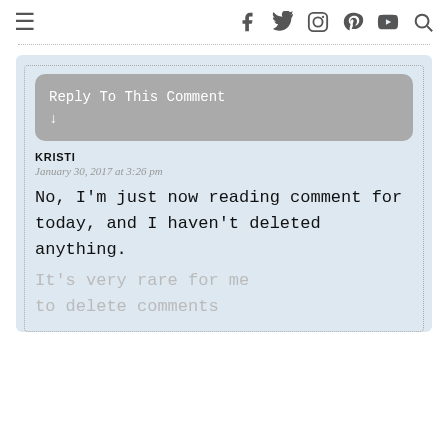≡  [social icons: facebook, twitter, instagram, pinterest, youtube, search]
Reply To This Comment ↓
KRISTI
January 30, 2017 at 3:26 pm
No, I'm just now reading comment for today, and I haven't deleted anything.
It's very rare for me to delete comments